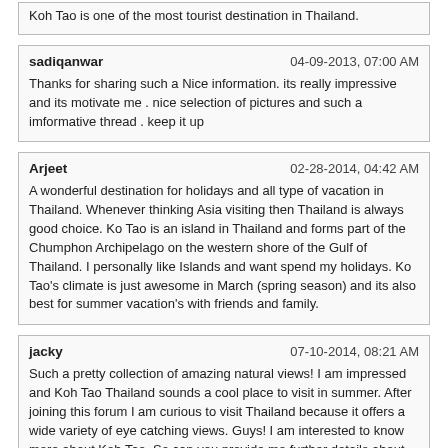Koh Tao is one of the most tourist destination in Thailand.
sadiqanwar   04-09-2013, 07:00 AM
Thanks for sharing such a Nice information. its really impressive and its motivate me . nice selection of pictures and such a imformative thread . keep it up
Arjeet   02-28-2014, 04:42 AM
A wonderful destination for holidays and all type of vacation in Thailand. Whenever thinking Asia visiting then Thailand is always good choice. Ko Tao is an island in Thailand and forms part of the Chumphon Archipelago on the western shore of the Gulf of Thailand. I personally like Islands and want spend my holidays. Ko Tao's climate is just awesome in March (spring season) and its also best for summer vacation's with friends and family.
jacky   07-10-2014, 08:21 AM
Such a pretty collection of amazing natural views! I am impressed and Koh Tao Thailand sounds a cool place to visit in summer. After joining this forum I am curious to visit Thailand because it offers a wide variety of eye catching views. Guys! I am interested to know more about Koh Tao. So can you provide me further details about things to do there?
gopkrtindd   09-10-2014, 07:13 AM
Koh Tao is very nice tourist destination in Thailand. I have personally visited this place.

picnic spots near delhi (http://www.arounddelhi.net/?page_id=203) | day picnic (http://www.conventionindia.in/Daysout.aspx)